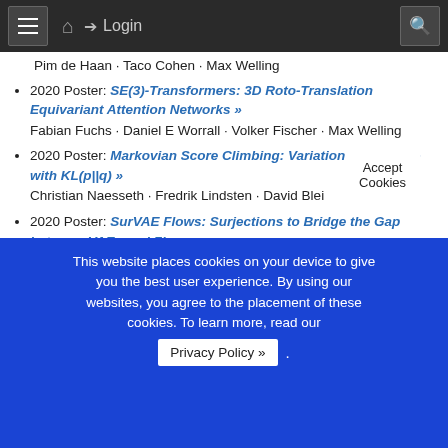Navigation bar with menu, home, login, and search
Pim de Haan · Taco Cohen · Max Welling
2020 Poster: SE(3)-Transformers: 3D Roto-Translation Equivariant Attention Networks » — Fabian Fuchs · Daniel E Worrall · Volker Fischer · Max Welling
2020 Poster: Markovian Score Climbing: Variational Inference with KL(p||q) » — Christian Naesseth · Fredrik Lindsten · David Blei
2020 Poster: SurVAE Flows: Surjections to Bridge the Gap between VAEs and Flows » — Didrik Nielsen · Priyank Jaini · Emiel Hoogeboom · Ole Winther · Max Welling
2020 Oral: SurVAE Flows: Surjections to Bridge the Gap between VAEs and Flows »
This website places cookies on your device to give you the best user experience. By using our websites, you agree to the placement of these cookies. To learn more, read our Privacy Policy ».